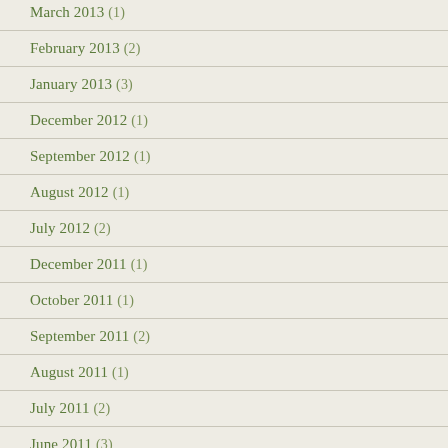March 2013 (1)
February 2013 (2)
January 2013 (3)
December 2012 (1)
September 2012 (1)
August 2012 (1)
July 2012 (2)
December 2011 (1)
October 2011 (1)
September 2011 (2)
August 2011 (1)
July 2011 (2)
June 2011 (3)
May 2011 (2)
April 2011 (3)